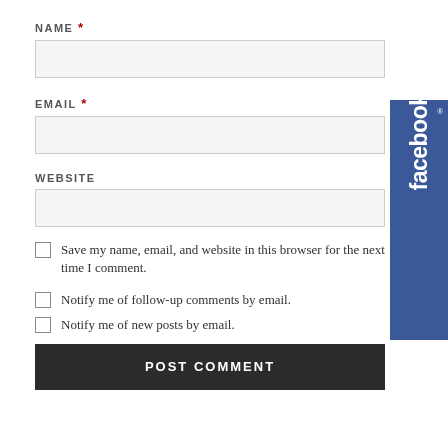NAME *
EMAIL *
WEBSITE
Save my name, email, and website in this browser for the next time I comment.
Notify me of follow-up comments by email.
Notify me of new posts by email.
POST COMMENT
[Figure (logo): Facebook branded sidebar button with white 'facebook' text on blue background, rotated vertically]